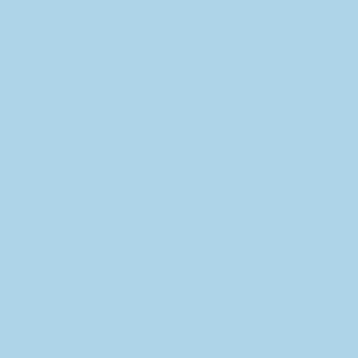[Figure (logo): Celebrity Readers blog logo — yellow background with stylized blue italic text 'Readers' and red bold uppercase subtitle 'A BLOG FOR READERS WHO CAN'T BLOG GOOD']
<a href="https://celebrityreaders.wordpress.com"><img src="https://celebrityreaders.files.
BLOGS WE FOLLOW
[Figure (photo): Blurred/redacted image beneath BLOGS WE FOLLOW section header]
Privacy & Cookies: This site uses cookies. By continuing to use this website, you agree to their use.
To find out more, including how to control cookies, see here: Cookie Policy
Close and accept